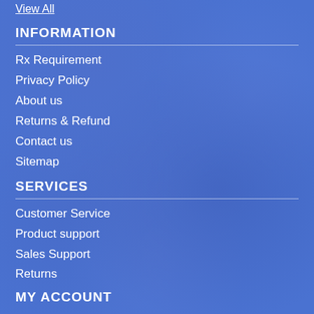View All
INFORMATION
Rx Requirement
Privacy Policy
About us
Returns & Refund
Contact us
Sitemap
SERVICES
Customer Service
Product support
Sales Support
Returns
MY ACCOUNT